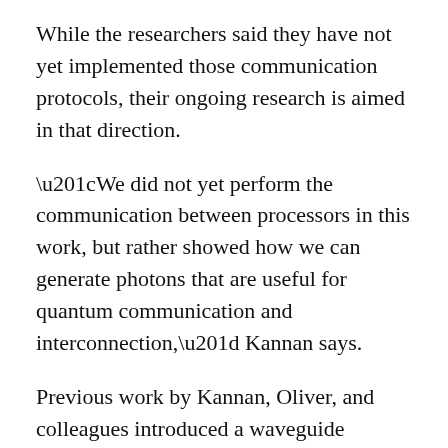While the researchers said they have not yet implemented those communication protocols, their ongoing research is aimed in that direction.
“We did not yet perform the communication between processors in this work, but rather showed how we can generate photons that are useful for quantum communication and interconnection,” Kannan says.
Previous work by Kannan, Oliver, and colleagues introduced a waveguide quantum electrodynamics architecture using superconducting qubits that are essentially a type of artificial giant atom. That research demonstrated how such an architecture can perform low-error quantum computation and share quantum information between processors. This is